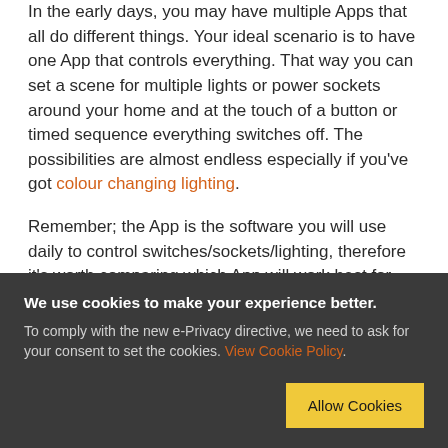In the early days, you may have multiple Apps that all do different things. Your ideal scenario is to have one App that controls everything. That way you can set a scene for multiple lights or power sockets around your home and at the touch of a button or timed sequence everything switches off. The possibilities are almost endless especially if you've got colour changing lighting.
Remember; the App is the software you will use daily to control switches/sockets/lighting, therefore it's worth comparing which App will work best for you as
We use cookies to make your experience better. To comply with the new e-Privacy directive, we need to ask for your consent to set the cookies. View Cookie Policy.